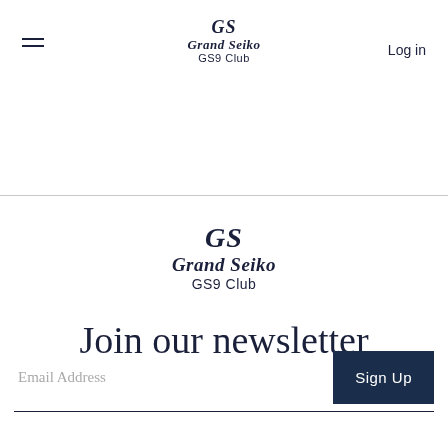GS Grand Seiko GS9 Club — Log in
[Figure (logo): Grand Seiko GS9 Club logo in footer area]
Join our newsletter
Email Address
Sign Up